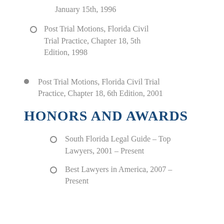January 15th, 1996
Post Trial Motions, Florida Civil Trial Practice, Chapter 18, 5th Edition, 1998
Post Trial Motions, Florida Civil Trial Practice, Chapter 18, 6th Edition, 2001
HONORS AND AWARDS
South Florida Legal Guide – Top Lawyers, 2001 – Present
Best Lawyers in America, 2007 – Present